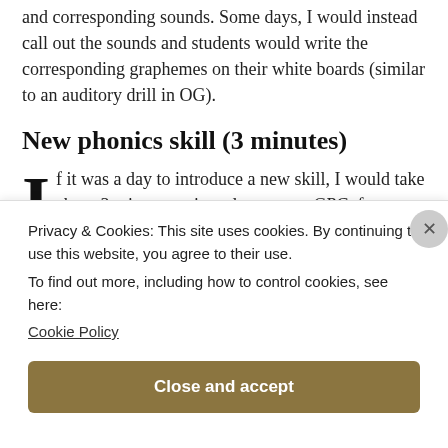and corresponding sounds. Some days, I would instead call out the sounds and students would write the corresponding graphemes on their white boards (similar to an auditory drill in OG).
New phonics skill (3 minutes)
If it was a day to introduce a new skill, I would take about 3 minutes to introduce a new GPC, for example. This would support mwhat they were
Privacy & Cookies: This site uses cookies. By continuing to use this website, you agree to their use.
To find out more, including how to control cookies, see here:
Cookie Policy
Close and accept